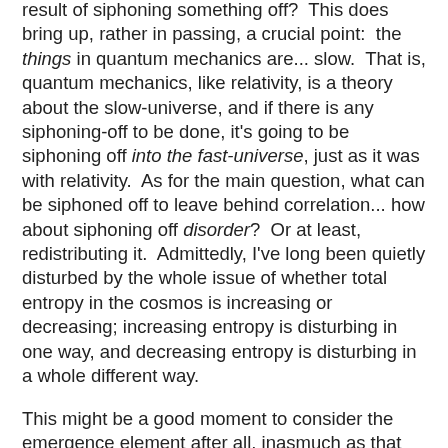result of siphoning something off?  This does bring up, rather in passing, a crucial point:  the things in quantum mechanics are... slow.  That is, quantum mechanics, like relativity, is a theory about the slow-universe, and if there is any siphoning-off to be done, it's going to be siphoning off into the fast-universe, just as it was with relativity.  As for the main question, what can be siphoned off to leave behind correlation... how about siphoning off disorder?  Or at least, redistributing it.  Admittedly, I've long been quietly disturbed by the whole issue of whether total entropy in the cosmos is increasing or decreasing; increasing entropy is disturbing in one way, and decreasing entropy is disturbing in a whole different way.
This might be a good moment to consider the emergence element after all, inasmuch as that seems to have been dependent on some sort of equilibrium assumption, which may tie in with siphoning off, or otherwise shifting about, of disorder.
With or without emergence, though, entropy is slippery; as it's been taught to me, entropy isn't something you specify as a behavior of a system, but something you derive from that